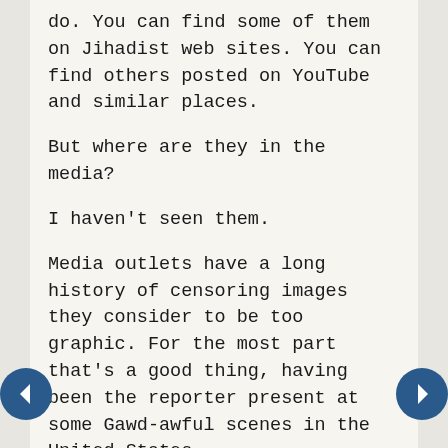do. You can find some of them on Jihadist web sites. You can find others posted on YouTube and similar places.
But where are they in the media?
I haven't seen them.
Media outlets have a long history of censoring images they consider to be too graphic. For the most part that's a good thing, having been the reporter present at some Gawd-awful scenes in the United States.
But images of the dead and wounded supposedly the result of Coalition action are common